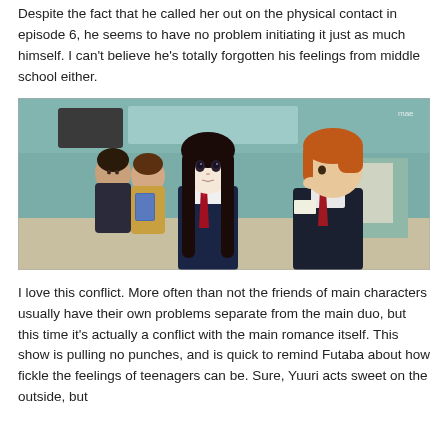Despite the fact that he called her out on the physical contact in episode 6, he seems to have no problem initiating it just as much himself. I can't believe he's totally forgotten his feelings from middle school either.
[Figure (illustration): Anime screenshot showing two high school students in school uniforms (one with long black hair, one with short orange/reddish-brown hair) facing each other in a classroom. Two male students are visible in the background, one holding a blue book. The setting has teal/green walls. Watermark 'mae' visible in top right.]
I love this conflict. More often than not the friends of main characters usually have their own problems separate from the main duo, but this time it's actually a conflict with the main romance itself. This show is pulling no punches, and is quick to remind Futaba about how fickle the feelings of teenagers can be. Sure, Yuuri acts sweet on the outside, but